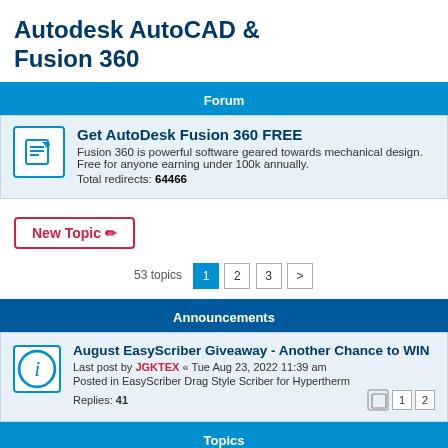Autodesk AutoCAD & Fusion 360
Forum
Get AutoDesk Fusion 360 FREE
Fusion 360 is powerful software geared towards mechanical design. Free for anyone earning under 100k annually.
Total redirects: 64466
New Topic
53 topics 1 2 3 >
Announcements
August EasyScriber Giveaway - Another Chance to WIN
Last post by JGKTEX « Tue Aug 23, 2022 11:39 am
Posted in EasyScriber Drag Style Scriber for Hypertherm
Replies: 41
Topics
Importing SVG or DXF to Fusion 360 Design space
Last post by adbuch « Fri Jun 17, 2022 12:38 am